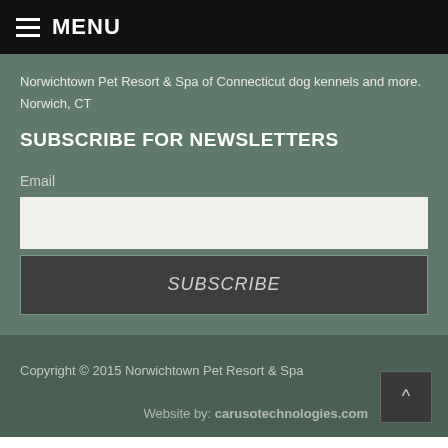MENU
Norwichtown Pet Resort & Spa of Connecticut dog kennels and more.
Norwich, CT
SUBSCRIBE FOR NEWSLETTERS
Email
SUBSCRIBE
Copyright © 2015 Norwichtown Pet Resort & Spa
Website by: carusotechnologies.com